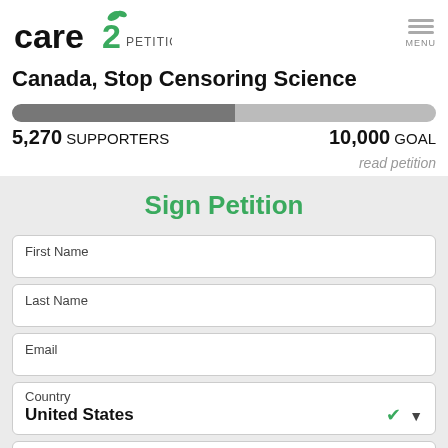Care2 PETITIONS
Canada, Stop Censoring Science
[Figure (infographic): Progress bar showing 5,270 supporters out of 10,000 goal, approximately 52.7% filled, gray bar]
5,270 SUPPORTERS    10,000 GOAL
read petition
Sign Petition
First Name
Last Name
Email
Country
United States
Street Address